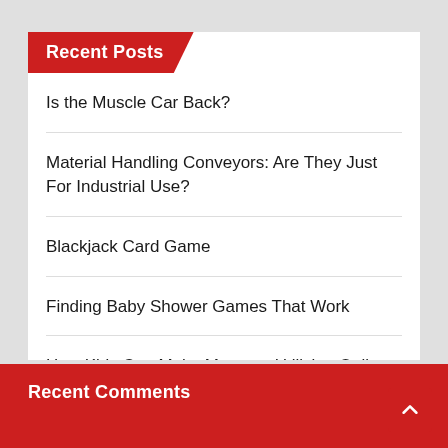Recent Posts
Is the Muscle Car Back?
Material Handling Conveyors: Are They Just For Industrial Use?
Blackjack Card Game
Finding Baby Shower Games That Work
How Kids Can Make Money – Utilizing Online Games to Make Cash
Recent Comments